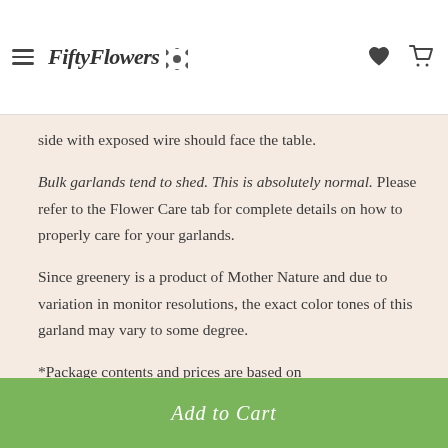FiftyFlowers
side with exposed wire should face the table.
Bulk garlands tend to shed. This is absolutely normal. Please refer to the Flower Care tab for complete details on how to properly care for your garlands.
Since greenery is a product of Mother Nature and due to variation in monitor resolutions, the exact color tones of this garland may vary to some degree.
*Package contents and prices are based on availability and are subject to change.
Add to Cart